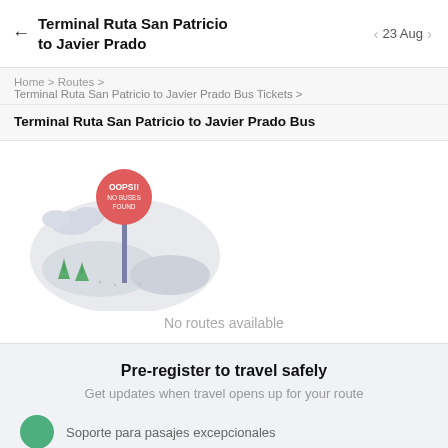Terminal Ruta San Patricio to Javier Prado | 23 Aug
Home > Routes > Terminal Ruta San Patricio to Javier Prado Bus Tickets >
Terminal Ruta San Patricio to Javier Prado Bus
[Figure (illustration): Cartoon illustration showing a round red road sign reading 'OOPS!! NO BUSES FOUND' on a post, with snow-covered hills, small green trees, and clouds in the background on a light grey circular background.]
No routes available
Pre-register to travel safely
Get updates when travel opens up for your route
Soporte para pasajes excepcionales